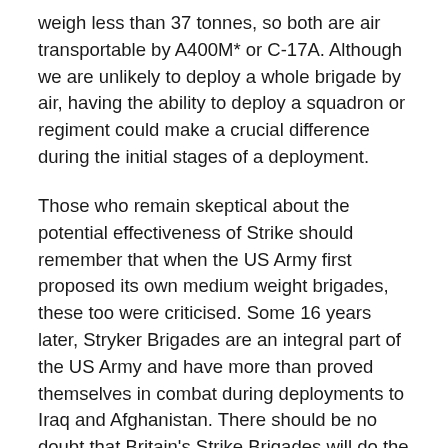weigh less than 37 tonnes, so both are air transportable by A400M* or C-17A. Although we are unlikely to deploy a whole brigade by air, having the ability to deploy a squadron or regiment could make a crucial difference during the initial stages of a deployment.
Those who remain skeptical about the potential effectiveness of Strike should remember that when the US Army first proposed its own medium weight brigades, these too were criticised. Some 16 years later, Stryker Brigades are an integral part of the US Army and have more than proved themselves in combat during deployments to Iraq and Afghanistan. There should be no doubt that Britain's Strike Brigades will do the same.